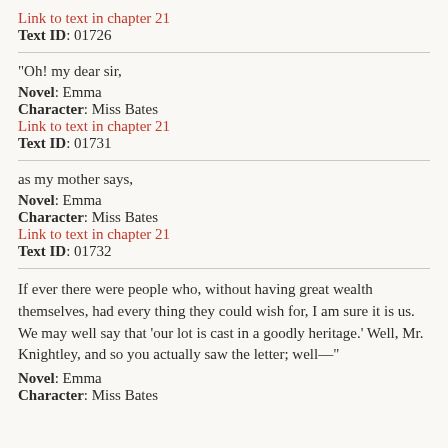Link to text in chapter 21
Text ID: 01726
"Oh! my dear sir,
Novel: Emma
Character: Miss Bates
Link to text in chapter 21
Text ID: 01731
as my mother says,
Novel: Emma
Character: Miss Bates
Link to text in chapter 21
Text ID: 01732
If ever there were people who, without having great wealth themselves, had every thing they could wish for, I am sure it is us. We may well say that 'our lot is cast in a goodly heritage.' Well, Mr. Knightley, and so you actually saw the letter; well—"
Novel: Emma
Character: Miss Bates